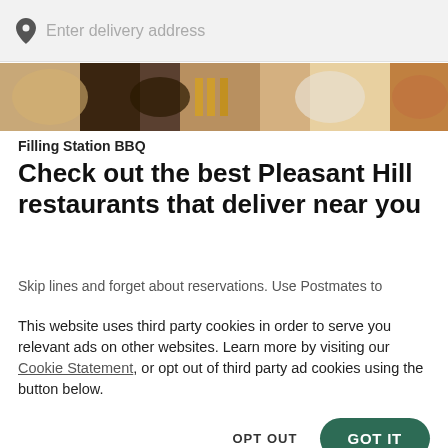Enter delivery address
[Figure (photo): Food photo showing BBQ dishes including plates of meat, fries, and other food items]
Filling Station BBQ
Check out the best Pleasant Hill restaurants that deliver near you
Skip lines and forget about reservations. Use Postmates to
This website uses third party cookies in order to serve you relevant ads on other websites. Learn more by visiting our Cookie Statement, or opt out of third party ad cookies using the button below.
OPT OUT
GOT IT